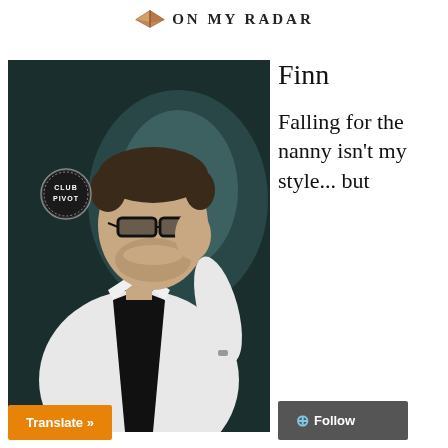ON MY RADAR
[Figure (photo): Man in white shirt and black vest wearing glasses, posed with hand near face, with Club Pivot badge overlay]
Finn
Falling for the nanny isn't my style... but
Translate »
+ Follow